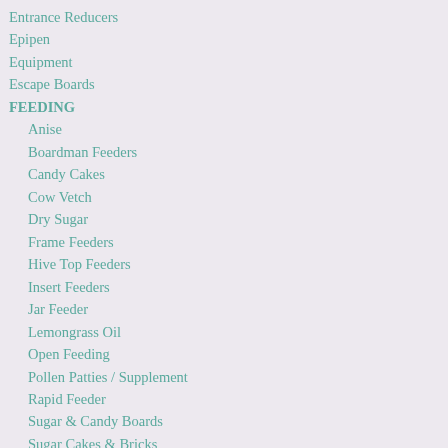Entrance Reducers
Epipen
Equipment
Escape Boards
FEEDING
Anise
Boardman Feeders
Candy Cakes
Cow Vetch
Dry Sugar
Frame Feeders
Hive Top Feeders
Insert Feeders
Jar Feeder
Lemongrass Oil
Open Feeding
Pollen Patties / Supplement
Rapid Feeder
Sugar & Candy Boards
Sugar Cakes & Bricks
Sugar Syrup
FLOWERS
Alder Bush